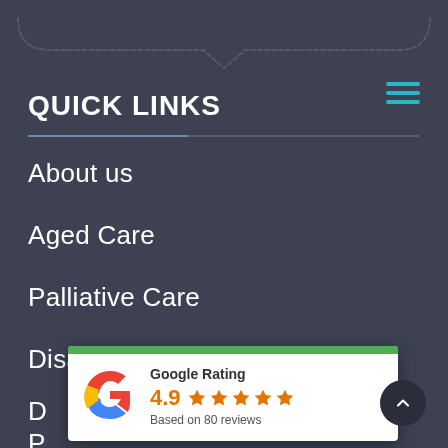[Figure (illustration): Decorative top bracket/brace SVG shape in dark grey]
QUICK LINKS
About us
Aged Care
Palliative Care
Disability Care
D...
P...
[Figure (other): Google Rating card showing 4.9 stars based on 80 reviews, with Google G logo and green top bar]